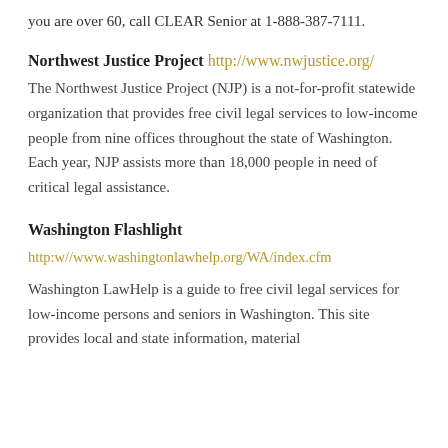you are over 60, call CLEAR Senior at 1-888-387-7111.
Northwest Justice Project http://www.nwjustice.org/
The Northwest Justice Project (NJP) is a not-for-profit statewide organization that provides free civil legal services to low-income people from nine offices throughout the state of Washington. Each year, NJP assists more than 18,000 people in need of critical legal assistance.
Washington Flashlight
http:w//www.washingtonlawhelp.org/WA/index.cfm
Washington LawHelp is a guide to free civil legal services for low-income persons and seniors in Washington. This site provides local and state information, material